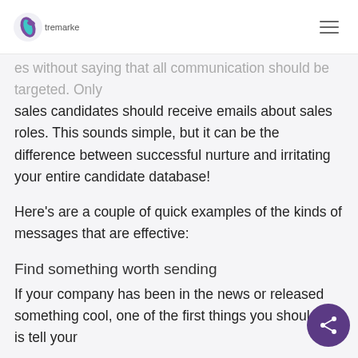tremarke [logo] [hamburger menu]
es without saying that all communication should be targeted. Only sales candidates should receive emails about sales roles. This sounds simple, but it can be the difference between successful nurture and irritating your entire candidate database!
Here's are a couple of quick examples of the kinds of messages that are effective:
Find something worth sending
If your company has been in the news or released something cool, one of the first things you should do is tell your